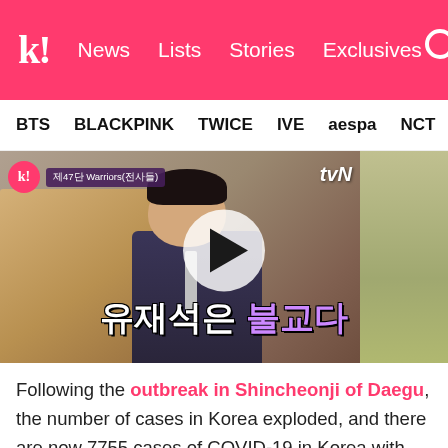koreaboo | News  Lists  Stories  Exclusives
BTS  BLACKPINK  TWICE  IVE  aespa  NCT  SEVE
[Figure (screenshot): tvN show screenshot with a man in a suit, Korean subtitles reading 유재석은 불교다, with a play button overlay]
Following the outbreak in Shincheonji of Daegu, the number of cases in Korea exploded, and there are now 7755 cases of COVID-19 in Korea with 6929 in Daegu and 193